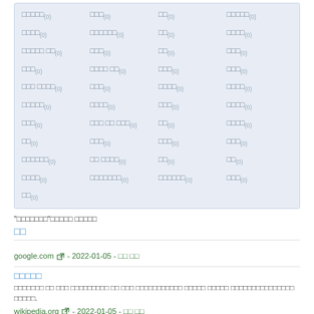| □□□□□(0) | □□□(0) | □□(0) | □□□□□(0) |
| □□□□(0) | □□□□□□(0) | □□(0) | □□□□(0) |
| □□□□□ □□(0) | □□□(0) | □□(0) | □□□(0) |
| □□□(0) | □□□□ □□(0) | □□□(0) | □□□(0) |
| □□□ □□□□(0) | □□□(0) | □□□□(0) | □□□□(0) |
| □□□□□(0) | □□□□(0) | □□□(0) | □□□□(0) |
| □□□(0) | □□□ □□ □□□(0) | □□(0) | □□□□(0) |
| □□(0) | □□□(0) | □□□(0) | □□□(0) |
| □□□□□□(0) | □□ □□□□(0) | □□(0) | □□(0) |
| □□□□(0) | □□□□□□□(0) | □□□□□□(0) | □□□(0) |
| □□(0) |  |  |  |
"□□□□□□□"□□□□□ □□□□□
□□
google.com - 2022-01-05 - □□ □□
□□□□□
□□□□□□□ □□ □□□ □□□□□□□□□ □□ □□□ □□□□□□□□□□□ □□□□□ □□□□□ □□□□□□□□□□□□□□□ □□□□□.
wikipedia.org - 2022-01-05 - □□ □□